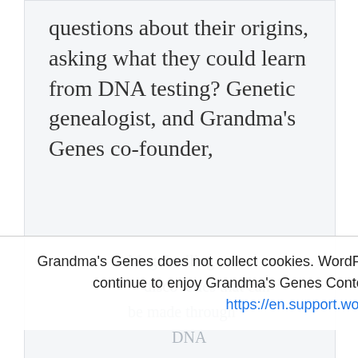questions about their origins, asking what they could learn from DNA testing?  Genetic genealogist, and Grandma's Genes co-founder,
Grandma's Genes does not collect cookies. WordPress and/or Third Party Links may require cookies. Please continue to enjoy Grandma's Genes Content and please opt-out (leave this site) at anytime.  https://en.support.wordpress.com/cookies/  Got it